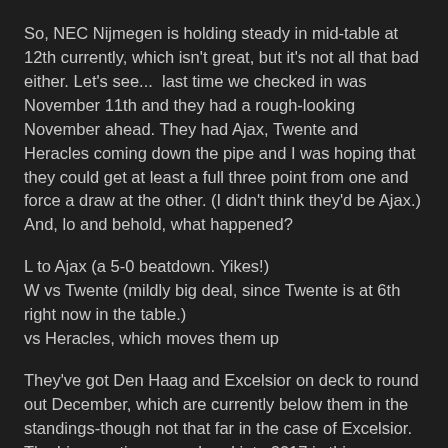So, NEC Nijmegen is holding steady in mid-table at 12th currently, which isn't great, but it's not all that bad either. Let's see...  last time we checked in was November 11th and they had a rough-looking November ahead. They had Ajax, Twente and Heracles coming down the pipe and I was hoping that they could get at least a full three point from one and force a draw at the other. (I didn't think they'd be Ajax.) And, lo and behold, what happened?
L to Ajax (a 5-0 beatdown. Yikes!)
W vs Twente (mildly big deal, since Twente is at 6th right now in the table.)
vs Heracles, which moves them up
They've got Den Haag and Excelsior on deck to round out December, which are currently below them in the standings-though not that far in the case of Excelsior. The big question as we head into 2017 is this: can NEC finish in the top half of